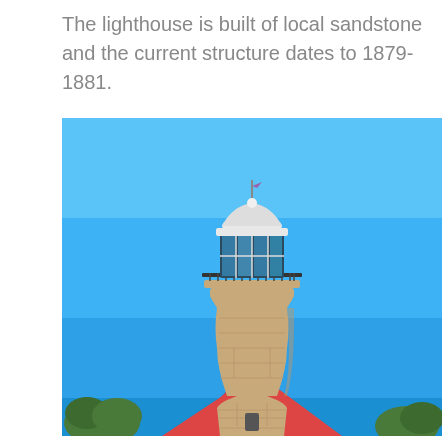The lighthouse is built of local sandstone and the current structure dates to 1879-1881.
[Figure (photo): Photograph of a sandstone lighthouse tower with a white glass lantern room at the top, black metal balcony railing, set against a clear bright blue sky. A red rooftop and green trees are partially visible at the base.]